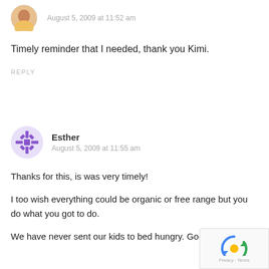[Figure (photo): Small circular avatar photo of a person in yellow clothing, top of page]
August 5, 2009 at 11:52 am
Timely reminder that I needed, thank you Kimi.
REPLY
[Figure (illustration): Circular purple snowflake/geometric avatar icon for user Esther]
Esther
August 5, 2009 at 11:55 am
Thanks for this, is was very timely!
I too wish everything could be organic or free range but you do what you got to do.
We have never sent our kids to bed hungry. God good!